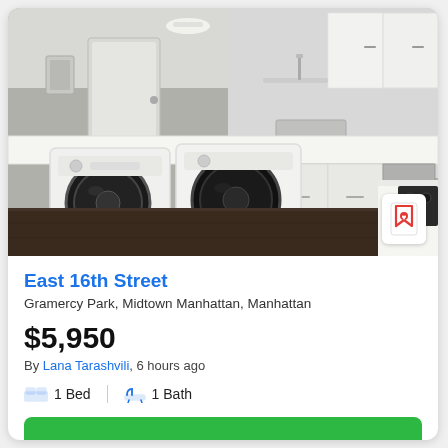[Figure (photo): Interior photo of a modern apartment kitchen/laundry area with white cabinets, white countertops, two front-loading washing machines, dark hardwood floors, and a sink visible in the background.]
East 16th Street
Gramercy Park, Midtown Manhattan, Manhattan
$5,950
By Lana Tarashvili, 6 hours ago
1 Bed   1 Bath